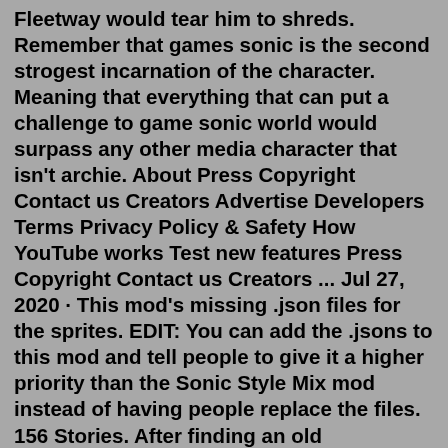Fleetway would tear him to shreds. Remember that games sonic is the second strogest incarnation of the character. Meaning that everything that can put a challenge to game sonic world would surpass any other media character that isn't archie. About Press Copyright Contact us Creators Advertise Developers Terms Privacy Policy & Safety How YouTube works Test new features Press Copyright Contact us Creators ... Jul 27, 2020 · This mod's missing .json files for the sprites. EDIT: You can add the .jsons to this mod and tell people to give it a higher priority than the Sonic Style Mix mod instead of having people replace the files. 156 Stories. After finding an old newspaper, the gang goes out to find a mysterious weapon. Only, Tails is quick to think that the Sonic is the weapon and tried to prove it to him bu... Sonic, Silver and Scourge are hiding a sercet away from their friends. The only ones who knows their sercet is Sonia and Manic. Epic Sonic and Shadow vs Sonic.exe Scene Creator 2! remix by kmonster20. idk